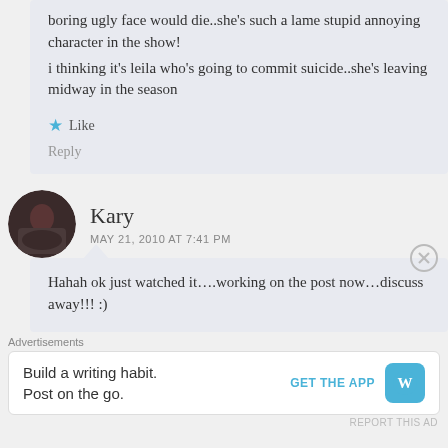boring ugly face would die..she's such a lame stupid annoying character in the show!
i thinking it's leila who's going to commit suicide..she's leaving midway in the season
★ Like
Reply
Kary
MAY 21, 2010 AT 7:41 PM
Hahah ok just watched it….working on the post now…discuss away!!! :)
Advertisements
Build a writing habit. Post on the go.
GET THE APP
REPORT THIS AD